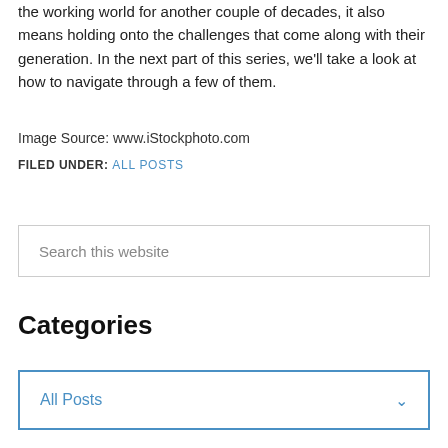the working world for another couple of decades, it also means holding onto the challenges that come along with their generation. In the next part of this series, we'll take a look at how to navigate through a few of them.
Image Source: www.iStockphoto.com
FILED UNDER: ALL POSTS
Search this website
Categories
All Posts